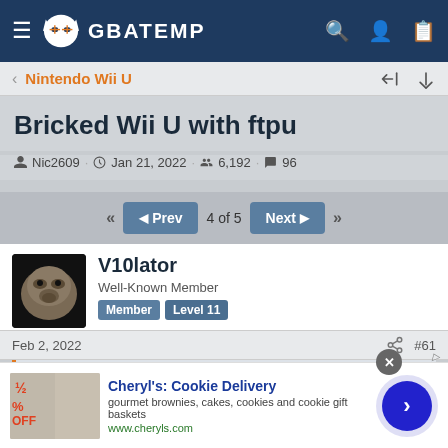GBAtemp
Nintendo Wii U
Bricked Wii U with ftpu
Nic2609 · Jan 21, 2022 · 6,192 · 96
« Prev  4 of 5  Next »
V10lator
Well-Known Member
Member  Level 11
Feb 2, 2022  #61
Nic2609 said: ↑
Cheryl's: Cookie Delivery
gourmet brownies, cakes, cookies and cookie gift baskets
www.cheryls.com